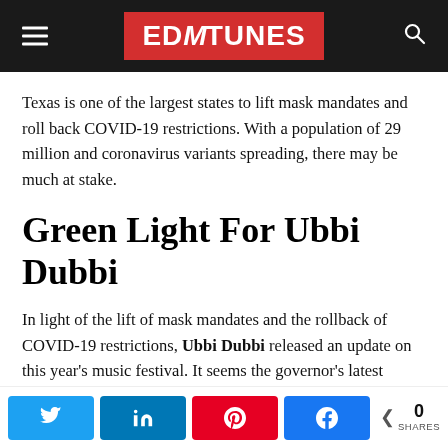EDMTunes
Texas is one of the largest states to lift mask mandates and roll back COVID-19 restrictions. With a population of 29 million and coronavirus variants spreading, there may be much at stake.
Green Light For Ubbi Dubbi
In light of the lift of mask mandates and the rollback of COVID-19 restrictions, Ubbi Dubbi released an update on this year's music festival. It seems the governor's latest decision may be making the 2021 event a reality.
Organizers are ensuring fans that they aim to bring a safe
0 SHARES